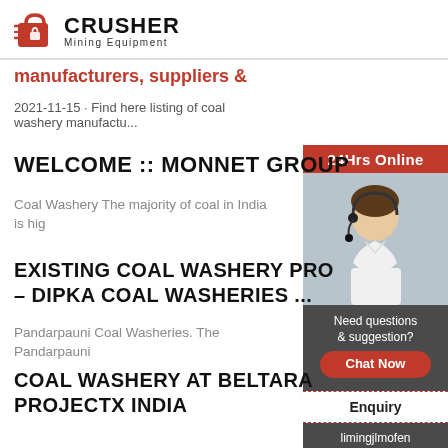[Figure (logo): Crusher Mining Equipment logo with red shopping bag icon and bold CRUSHER text]
manufacturers, suppliers &
2021-11-15 · Find here listing of coal washery manufactu...
WELCOME :: MONNET GROUP
Coal Washery The majority of coal in India is hig
EXISTING COAL WASHERY PRO – DIPKA COAL WASHERIES ...
Pandarpauni Coal Washeries. The Pandarpauni
COAL WASHERY AT BELTARA PROJECTX INDIA